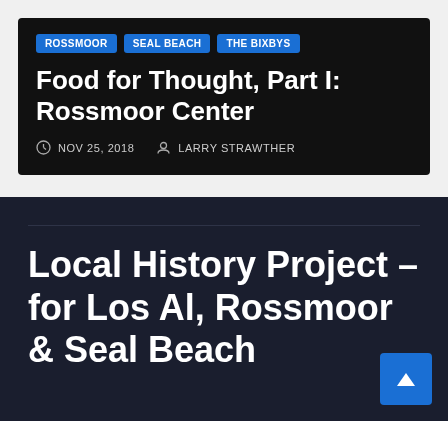ROSSMOOR | SEAL BEACH | THE BIXBYS
Food for Thought, Part I: Rossmoor Center
NOV 25, 2018  LARRY STRAWTHER
Local History Project – for Los Al, Rossmoor & Seal Beach